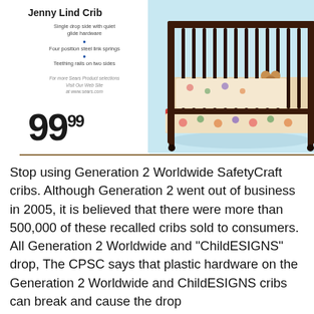[Figure (photo): Advertisement for Jenny Lind Crib showing a dark wood baby crib with colorful bedding on a light blue background, priced at $99.99. Left side shows product name, features (Single drop side with quiet glide hardware, Four position steel link springs, Teething rails on two sides), website reference, and price 99.99.]
Stop using Generation 2 Worldwide SafetyCraft cribs. Although Generation 2 went out of business in 2005, it is believed that there were more than 500,000 of these recalled cribs sold to consumers. All Generation 2 Worldwide and "ChildESIGNS" drop, The CPSC says that plastic hardware on the Generation 2 Worldwide and ChildESIGNS cribs can break and cause the drop side to detach from one corner of the crib, then